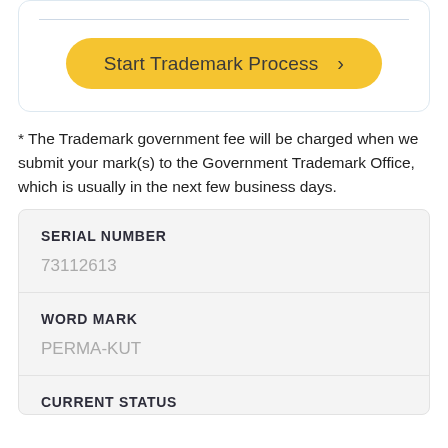[Figure (screenshot): Top card with a horizontal divider line and a yellow rounded button labeled 'Start Trademark Process >']
* The Trademark government fee will be charged when we submit your mark(s) to the Government Trademark Office, which is usually in the next few business days.
| SERIAL NUMBER | WORD MARK | CURRENT STATUS |
| --- | --- | --- |
| 73112613 | PERMA-KUT |  |